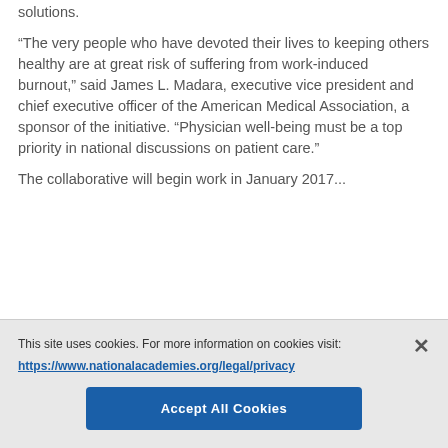solutions.
“The very people who have devoted their lives to keeping others healthy are at great risk of suffering from work-induced burnout,” said James L. Madara, executive vice president and chief executive officer of the American Medical Association, a sponsor of the initiative. “Physician well-being must be a top priority in national discussions on patient care.”
The collaborative will begin work in January 2017...
This site uses cookies. For more information on cookies visit: https://www.nationalacademies.org/legal/privacy
Accept All Cookies